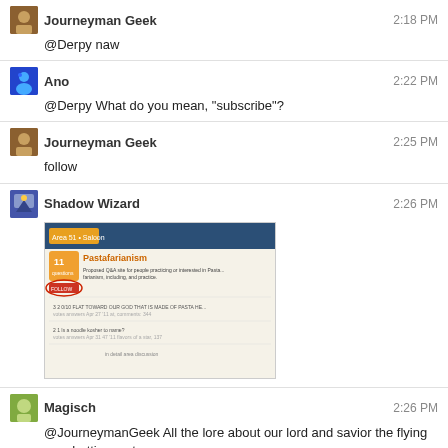Journeyman Geek  2:18 PM
@Derpy naw
Ano  2:22 PM
@Derpy What do you mean, "subscribe"?
Journeyman Geek  2:25 PM
follow
Shadow Wizard  2:26 PM
[Figure (screenshot): Screenshot of a Stack Exchange proposal page for Pastafarianism]
Magisch  2:26 PM
@JourneymanGeek All the lore about our lord and savior the flying spaghetti monster
I may be biased because I'm technically a priest of the church of pastafarianism
Ano  2:26 PM
@ShadowWizard Naw, I was just being pedantic for fun that time
Journeyman Geek  2:26 PM
I WILL EAT YOUR GOD